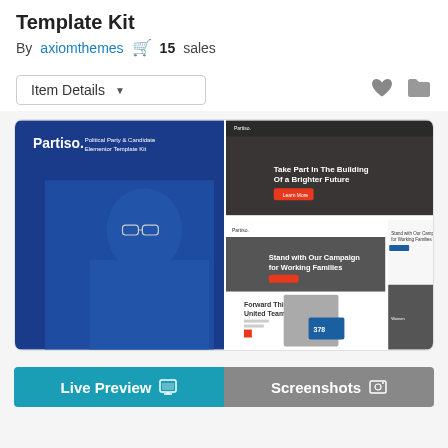Template Kit
By axiomthemes   🛒 15 sales
Item Details ▼
[Figure (screenshot): Screenshot preview of Partiso Political Party & Candidate Elementor Template Kit showing multiple page layouts with a politician in a blue suit, campaign website templates with blue headers and call-to-action sections.]
Live Preview   Screenshots